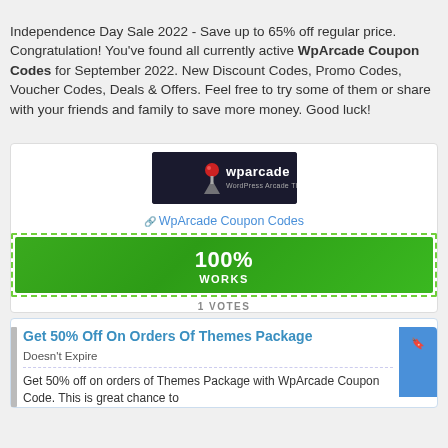Independence Day Sale 2022 - Save up to 65% off regular price. Congratulation! You've found all currently active WpArcade Coupon Codes for September 2022. New Discount Codes, Promo Codes, Voucher Codes, Deals & Offers. Feel free to try some of them or share with your friends and family to save more money. Good luck!
[Figure (logo): WpArcade WordPress Arcade Themes logo — dark background with red joystick ball and grey joystick body, white text 'wparcade' and 'WordPress Arcade Themes']
🔗 WpArcade Coupon Codes
[Figure (infographic): Green button with dashed border showing '100% WORKS']
1 VOTES
Get 50% Off On Orders Of Themes Package
Doesn't Expire
Get 50% off on orders of Themes Package with WpArcade Coupon Code. This is great chance to